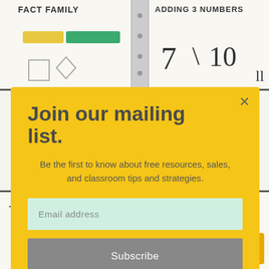[Figure (photo): Background showing educational math worksheets. Top left: 'FACT FAMILY' worksheet with yellow and green crayons/markers. Top right: 'ADDING 3 NUMBERS' worksheet with handwritten numbers 7 and 10. Bottom: number line worksheet showing 5+2=7 and a 'NUMBER LINE' labeled worksheet. A binder ring/spiral binding runs vertically in the center.]
Join our mailing list.
Be the first to know about free resources, sales, and classroom tips and strategies.
Email address
Subscribe